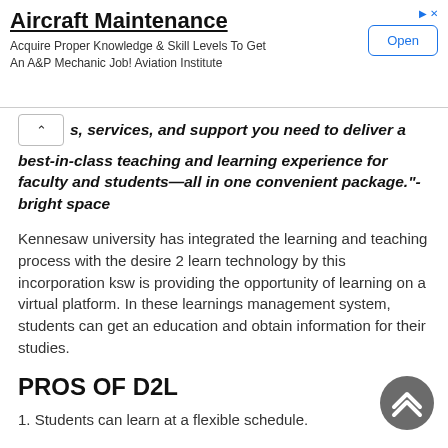[Figure (other): Advertisement banner for Aircraft Maintenance course with Open button]
s, services, and support you need to deliver a best-in-class teaching and learning experience for faculty and students—all in one convenient package."- bright space
Kennesaw university has integrated the learning and teaching process with the desire 2 learn technology by this incorporation ksw is providing the opportunity of learning on a virtual platform. In these learnings management system, students can get an education and obtain information for their studies.
PROS OF D2L
1. Students can learn at a flexible schedule.